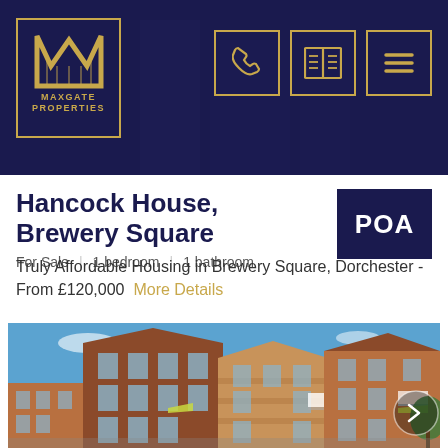[Figure (logo): Maxgate Properties logo — gold M letter mark with gold border, company name below in gold on dark navy background]
[Figure (screenshot): Navigation bar icons: phone, map/book, and hamburger menu — gold outlined on dark navy background]
Hancock House, Brewery Square
For Sale | 1 bedroom | 1 bathroom
POA
Truly Affordable Housing in Brewery Square, Dorchester - From £120,000  More Details
[Figure (photo): Exterior photograph of Hancock House, a modern brick apartment building in Brewery Square, Dorchester. Multiple storeys with brick facades in tan and terracotta tones, balconies with glass railings, blue sky background, trees visible on right.]